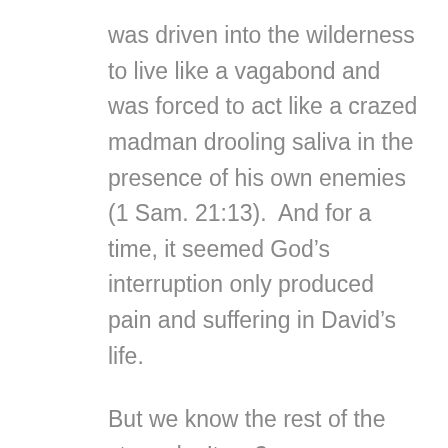was driven into the wilderness to live like a vagabond and was forced to act like a crazed madman drooling saliva in the presence of his own enemies (1 Sam. 21:13).  And for a time, it seemed God’s interruption only produced pain and suffering in David’s life.
But we know the rest of the story, don’t we?
We know King David was called a “man after God’s own heart” (1 Sam.